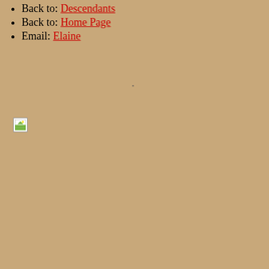Back to: Descendants
Back to: Home Page
Email: Elaine
[Figure (other): Broken image placeholder icon (small landscape icon with green and white, indicating a missing/broken image link)]